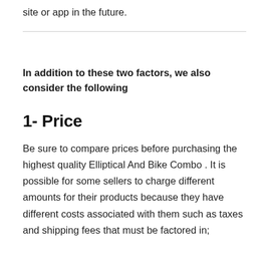site or app in the future.
In addition to these two factors, we also consider the following
1- Price
Be sure to compare prices before purchasing the highest quality Elliptical And Bike Combo . It is possible for some sellers to charge different amounts for their products because they have different costs associated with them such as taxes and shipping fees that must be factored in;